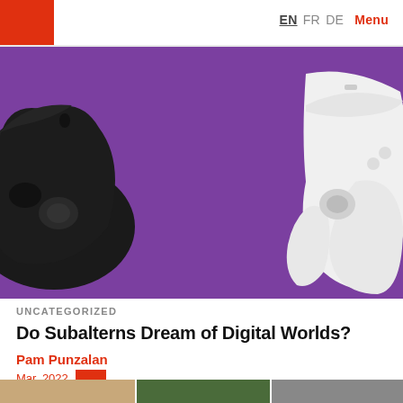EN FR DE Menu
[Figure (photo): Two game controllers — a black PlayStation controller on the left and a white PlayStation controller on the right — placed on a purple background, viewed from above. Only the outer halves of each controller are visible at the edges of the frame.]
UNCATEGORIZED
Do Subalterns Dream of Digital Worlds?
Pam Punzalan
Mar. 2022
[Figure (photo): Partial bottom strip showing thumbnails of additional article images.]